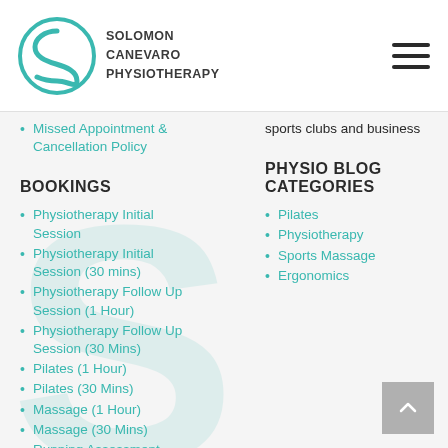Solomon Canevaro Physiotherapy
Missed Appointment & Cancellation Policy
sports clubs and business
BOOKINGS
PHYSIO BLOG CATEGORIES
Physiotherapy Initial Session
Pilates
Physiotherapy Initial Session (30 mins)
Physiotherapy
Physiotherapy Follow Up Session (1 Hour)
Sports Massage
Physiotherapy Follow Up Session (30 Mins)
Ergonomics
Pilates (1 Hour)
Pilates (30 Mins)
Massage (1 Hour)
Massage (30 Mins)
Running Assessment
Cycling Assessment